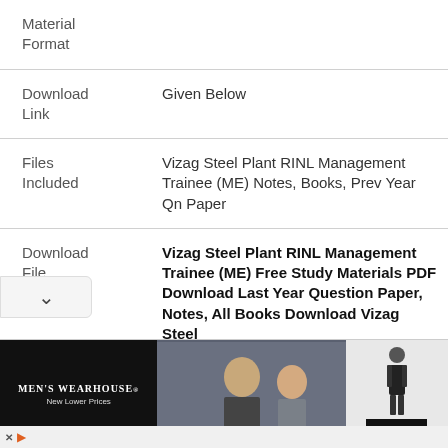| Material Format |  |
| Download Link | Given Below |
| Files Included | Vizag Steel Plant RINL Management Trainee (ME) Notes, Books, Prev Year Qn Paper |
| Download File | Vizag Steel Plant RINL Management Trainee (ME) Free Study Materials PDF Download Last Year Question Paper, Notes, All Books Download Vizag Steel |
[Figure (photo): Advertisement banner for Men's Wearhouse featuring a couple in formal wear and a man in a suit, with a BOOK button]